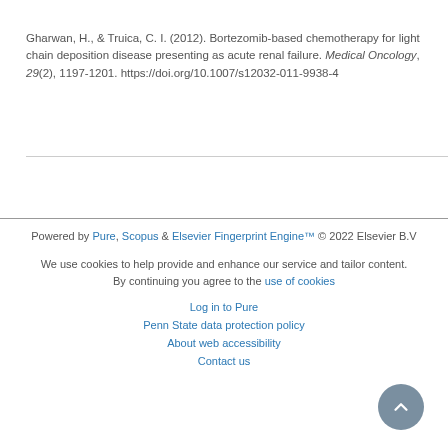Gharwan, H., & Truica, C. I. (2012). Bortezomib-based chemotherapy for light chain deposition disease presenting as acute renal failure. Medical Oncology, 29(2), 1197-1201. https://doi.org/10.1007/s12032-011-9938-4
Powered by Pure, Scopus & Elsevier Fingerprint Engine™ © 2022 Elsevier B.V

We use cookies to help provide and enhance our service and tailor content. By continuing you agree to the use of cookies

Log in to Pure

Penn State data protection policy

About web accessibility

Contact us